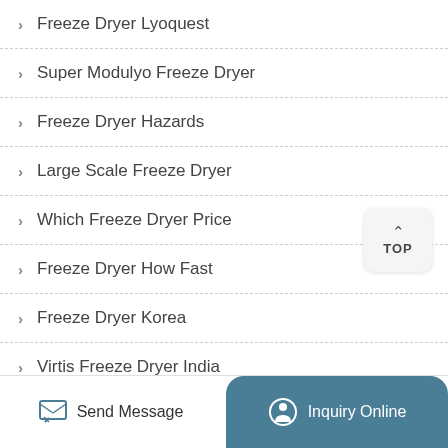Freeze Dryer Lyoquest
Super Modulyo Freeze Dryer
Freeze Dryer Hazards
Large Scale Freeze Dryer
Which Freeze Dryer Price
Freeze Dryer How Fast
Freeze Dryer Korea
Virtis Freeze Dryer India
Send Message | Inquiry Online